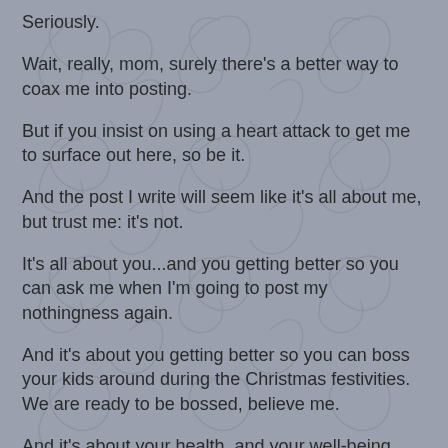Seriously.
Wait, really, mom, surely there's a better way to coax me into posting.
But if you insist on using a heart attack to get me to surface out here, so be it.
And the post I write will seem like it's all about me, but trust me: it's not.
It's all about you...and you getting better so you can ask me when I'm going to post my nothingness again.
And it's about you getting better so you can boss your kids around during the Christmas festivities. We are ready to be bossed, believe me.
And it's about your health, and your well-being, and your determination to get out of the hospital so you can get back to the business of mothering, and grandmothering, and mother-in-lawing, etc. And doing all that in a way that causes